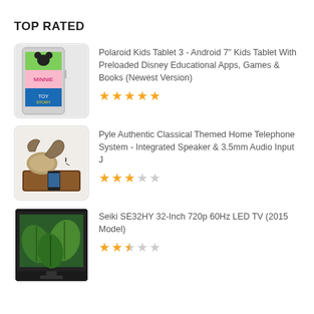TOP RATED
[Figure (illustration): Polaroid Kids Tablet showing Disney characters including Mickey Mouse, Minnie Mouse, and Toy Story on screen]
Polaroid Kids Tablet 3 - Android 7" Kids Tablet With Preloaded Disney Educational Apps, Games & Books (Newest Version)
[Figure (illustration): 5 filled yellow stars rating]
[Figure (photo): Pyle Authentic Classical Themed Home Telephone System on a wooden base with vintage style handset and smartphone dock]
Pyle Authentic Classical Themed Home Telephone System - Integrated Speaker & 3.5mm Audio Input J
[Figure (illustration): 3 filled yellow stars and 2 empty stars rating]
[Figure (photo): Seiki SE32HY 32-Inch LED TV showing green leaves on screen]
Seiki SE32HY 32-Inch 720p 60Hz LED TV (2015 Model)
[Figure (illustration): 2.5 stars rating: 2 filled yellow stars, 1 half star, 2 empty stars]